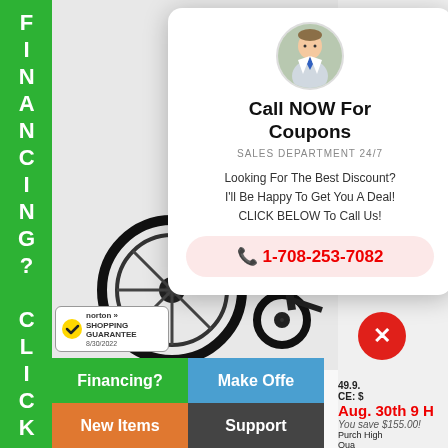[Figure (screenshot): E-commerce webpage screenshot showing wheelchair products with a chat/call popup overlay, navigation buttons, and Norton Shopping Guarantee badge.]
FINANCING? CLICK
Brand New High Quality K Length Desk Arms
LIST PRICE: $599.95
REGULAR PRICE: $374.
Aug. 30th 9 HR. SALE: $169.95
You save $430.00!
Purchase This High Brand New High Quality Wheelchair Today! Limited Qu 3991.
Aug. 30th 9 H
You save $155.00! Purch High Qua
[Figure (photo): Circular avatar photo of a man in a suit with a blue tie, outdoors background.]
Call NOW For Coupons
SALES DEPARTMENT 24/7
Looking For The Best Discount? I'll Be Happy To Get You A Deal! CLICK BELOW To Call Us!
1-708-253-7082
Financing?
Make Offe
Locations
Support
New Items
[Figure (logo): Norton Shopping Guarantee badge with checkmark, dated 8/30/2022]